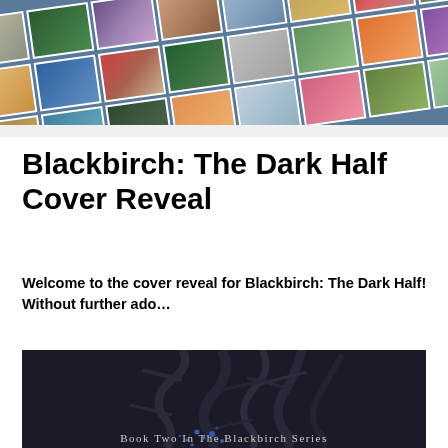[Figure (photo): Header photo collage of multiple small images arranged in a grid, rotated at an angle, showing various nature scenes including cats, flowers, trees, garden paths, and colorful landscapes. White borders between photos. Background is bluish-gray.]
Blackbirch: The Dark Half Cover Reveal
Welcome to the cover reveal for Blackbirch: The Dark Half! Without further ado…
[Figure (photo): Partial book cover for 'Blackbirch: The Dark Half' - dark background with bare tree branches silhouetted and small blue sparkle/light elements near the bottom. Text at bottom reads 'Book Two In The Blackbirch Series' in spaced serif lettering.]